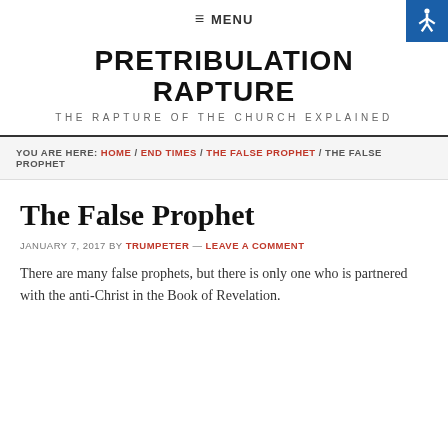≡ MENU
PRETRIBULATION RAPTURE
THE RAPTURE OF THE CHURCH EXPLAINED
YOU ARE HERE: HOME / END TIMES / THE FALSE PROPHET / THE FALSE PROPHET
The False Prophet
JANUARY 7, 2017 BY TRUMPETER — LEAVE A COMMENT
There are many false prophets, but there is only one who is partnered with the anti-Christ in the Book of Revelation.